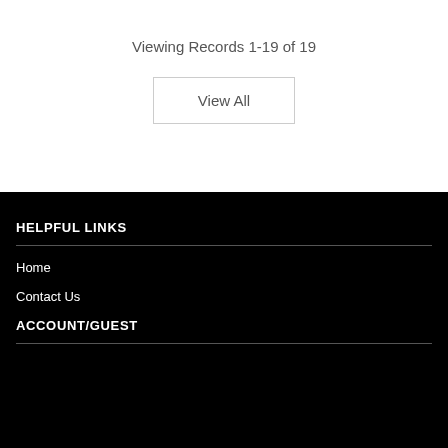Viewing Records 1-19 of 19
View All
HELPFUL LINKS
Home
Contact Us
ACCOUNT/GUEST